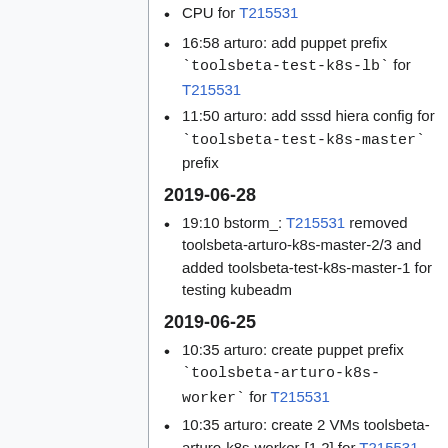CPU for T215531
16:58 arturo: add puppet prefix `toolsbeta-test-k8s-lb` for T215531
11:50 arturo: add sssd hiera config for `toolsbeta-test-k8s-master` prefix
2019-06-28
19:10 bstorm_: T215531 removed toolsbeta-arturo-k8s-master-2/3 and added toolsbeta-test-k8s-master-1 for testing kubeadm
2019-06-25
10:35 arturo: create puppet prefix `toolsbeta-arturo-k8s-worker` for T215531
10:35 arturo: create 2 VMs toolsbeta-arturo-k8s-worker-[1,2] for T215531
2019-06-21